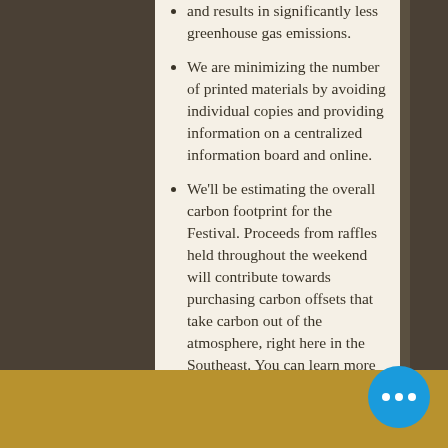and results in significantly less greenhouse gas emissions.
We are minimizing the number of printed materials by avoiding individual copies and providing information on a centralized information board and online.
We'll be estimating the overall carbon footprint for the Festival. Proceeds from raffles held throughout the weekend will contribute towards purchasing carbon offsets that take carbon out of the atmosphere, right here in the Southeast. You can learn more about carbon offsets here from NC Green Power.